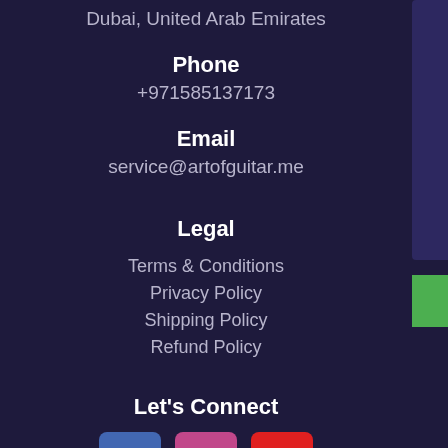Dubai, United Arab Emirates
Phone
+971585137173
Email
service@artofguitar.me
Legal
Terms & Conditions
Privacy Policy
Shipping Policy
Refund Policy
Let's Connect
[Figure (illustration): Three social media icon buttons: Facebook (blue), Instagram (pink/magenta), YouTube (red)]